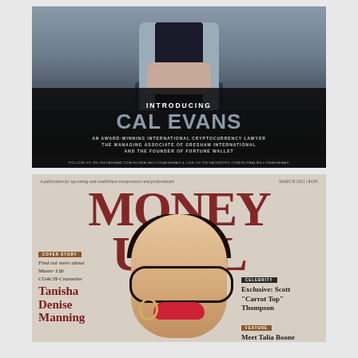[Figure (photo): Dark promotional image introducing Cal Evans, showing a person in a grey jacket seated, with large text overlay. Bottom bar shows social media follow instructions.]
INTRODUCING CAL EVANS
AN AWARD-WINNING INTERNATIONAL CRYPTOCURRENCY LAWYER THE MANAGING ASSOCIATE OF GRESHAM INTERNATIONAL AND THE FOUNDER OF FORTUNE WALLET
FOLLOW US ON INSTAGRAM.COM/GLOBALMILLIONAIREMAS & LIKE US ON FACEBOOK.COM/GLOBALMILLIONAIREMAS
[Figure (photo): Money Ural magazine cover featuring Tanisha Denise Manning, a Master Life COACH-Counselor, with red lips and glasses. Also features Celebrity section on Scott 'Carrot Top' Thompson and Feature on Talia Boone.]
A publication for upcoming and established entrepreneurs and professionals
MARCH 2021 | $4.95
COVER STORY
Find out more about Master Life COACH-Counselor
Tanisha Denise Manning
CELEBRITY
Exclusive: Scott "Carrot Top" Thompson
FEATURE
Meet Talia Boone